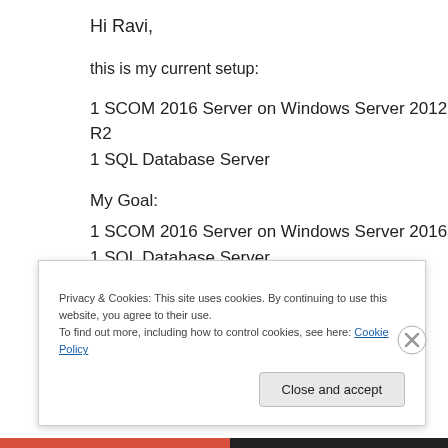Hi Ravi,
this is my current setup:
1 SCOM 2016 Server on Windows Server 2012 R2
1 SQL Database Server
My Goal:
1 SCOM 2016 Server on Windows Server 2016
1 SQL Database Server
How can I do this?
Privacy & Cookies: This site uses cookies. By continuing to use this website, you agree to their use.
To find out more, including how to control cookies, see here: Cookie Policy